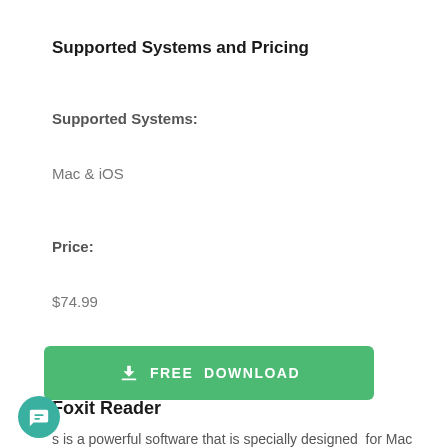Supported Systems and Pricing
Supported Systems:
Mac & iOS
Price:
$74.99
[Figure (other): Green FREE DOWNLOAD button with a download arrow icon]
Foxit Reader
s is a powerful software that is specially designed  for Mac OS.  Foxit Reader can edit, view and create PDF